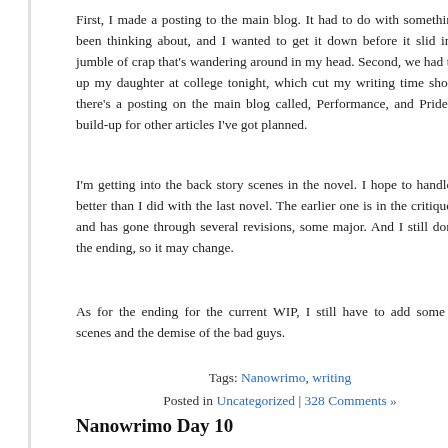First, I made a posting to the main blog. It had to do with something I've been thinking about, and I wanted to get it down before it slid into the jumble of crap that's wandering around in my head. Second, we had to pick up my daughter at college tonight, which cut my writing time short. But there's a posting on the main blog called, Performance, and Pride. It's a build-up for other articles I've got planned.
I'm getting into the back story scenes in the novel. I hope to handle them better than I did with the last novel. The earlier one is in the critique stage and has gone through several revisions, some major. And I still don't like the ending, so it may change.
As for the ending for the current WIP, I still have to add some action scenes and the demise of the bad guys.
Tags: Nanowrimo, writing
Posted in Uncategorized | 328 Comments »
Nanowrimo Day 10